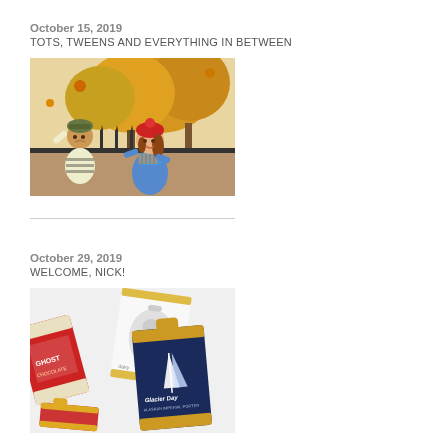October 15, 2019
TOTS, TWEENS AND EVERYTHING IN BETWEEN
[Figure (illustration): Children playing outdoors in autumn, illustrated style. A girl in a blue striped scarf and red hat stands by iron fence with golden autumn trees behind her. A boy in a striped shirt looks up in background.]
October 29, 2019
WELCOME, NICK!
[Figure (illustration): Collection of product label/packaging designs arranged at angles — includes a can label 'Ghost', a container with white liquid, and 'Glacier Day' Porter beer label in blue and gold, among others.]